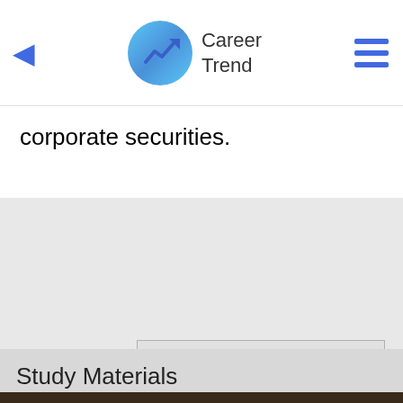Career Trend
corporate securities.
[Figure (screenshot): Gray advertisement placeholder area]
Study Materials